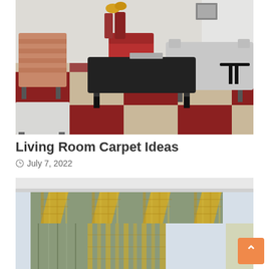[Figure (photo): Living room interior with red and beige checkerboard carpet, modern furniture including a grey sofa, striped armchair, red accent chair, and black coffee table.]
Living Room Carpet Ideas
July 7, 2022
[Figure (photo): Window treatment with sage green valance and yellow plaid fabric decorative panels, with matching curtains below.]